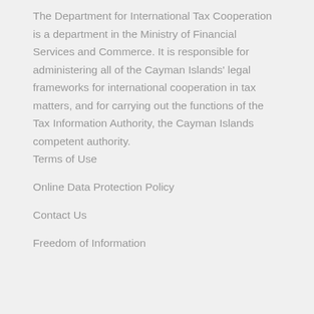The Department for International Tax Cooperation is a department in the Ministry of Financial Services and Commerce. It is responsible for administering all of the Cayman Islands' legal frameworks for international cooperation in tax matters, and for carrying out the functions of the Tax Information Authority, the Cayman Islands competent authority.
Terms of Use
Online Data Protection Policy
Contact Us
Freedom of Information